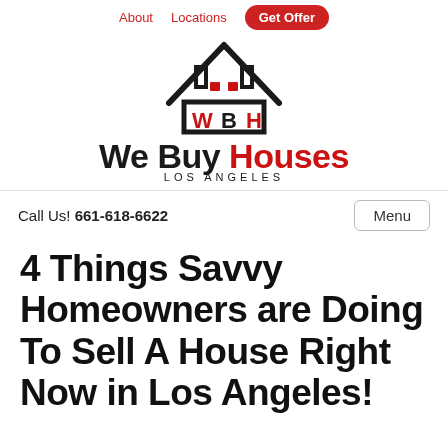About   Locations   Get Offer
[Figure (logo): WBH house logo with roof outline, WBH letters in red and black, and text 'We Buy Houses Los Angeles']
Call Us! 661-618-6622
Menu
4 Things Savvy Homeowners are Doing To Sell A House Right Now in Los Angeles!